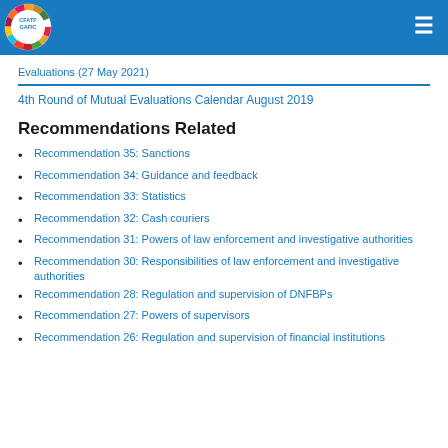CFATF GAFIC logo and navigation
Evaluations (27 May 2021)
4th Round of Mutual Evaluations Calendar August 2019
Recommendations Related
Recommendation 35: Sanctions
Recommendation 34: Guidance and feedback
Recommendation 33: Statistics
Recommendation 32: Cash couriers
Recommendation 31: Powers of law enforcement and investigative authorities
Recommendation 30: Responsibilities of law enforcement and investigative authorities
Recommendation 28: Regulation and supervision of DNFBPs
Recommendation 27: Powers of supervisors
Recommendation 26: Regulation and supervision of financial institutions